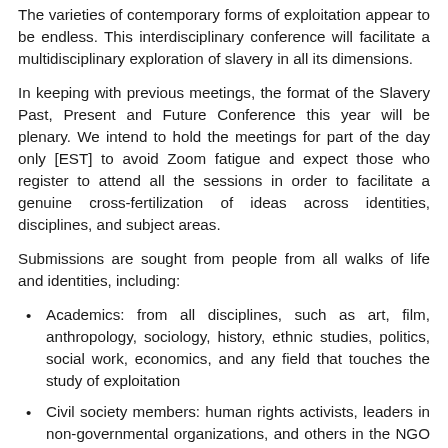The varieties of contemporary forms of exploitation appear to be endless. This interdisciplinary conference will facilitate a multidisciplinary exploration of slavery in all its dimensions.
In keeping with previous meetings, the format of the Slavery Past, Present and Future Conference this year will be plenary. We intend to hold the meetings for part of the day only [EST] to avoid Zoom fatigue and expect those who register to attend all the sessions in order to facilitate a genuine cross-fertilization of ideas across identities, disciplines, and subject areas.
Submissions are sought from people from all walks of life and identities, including:
Academics: from all disciplines, such as art, film, anthropology, sociology, history, ethnic studies, politics, social work, economics, and any field that touches the study of exploitation
Civil society members: human rights activists, leaders in non-governmental organizations, and others in the NGO or social advocacy fields